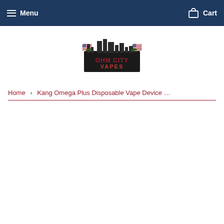Menu   Cart
[Figure (logo): Ohm City Vapes logo with city skyline silhouette, palm trees, and American flags on either side. Text reads OHM CITY VAPES.]
Home › Kang Omega Plus Disposable Vape Device …